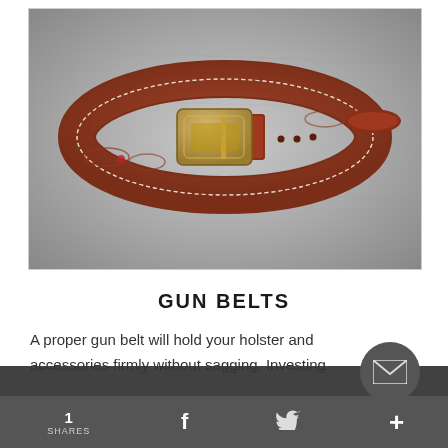[Figure (photo): A brown leather gun belt with white stitching, decorative diamond/loop tooling pattern, and a gold/brass rectangular buckle, coiled on a grey stone background.]
GUN BELTS
A proper gun belt will hold your holster and accessories firmly without sagging. Investing
1 SHARES  f  [Twitter bird]  +